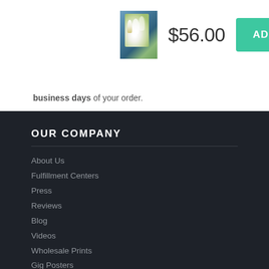[Figure (photo): Small product thumbnail showing a painting of white daisy flowers against a blue-green background]
$56.00
ADD TO CART
business days of your order.
OUR COMPANY
About Us
Fulfillment Centers
Press
Reviews
Blog
Videos
Wholesale Prints
Gig Posters
Sell Merch Online